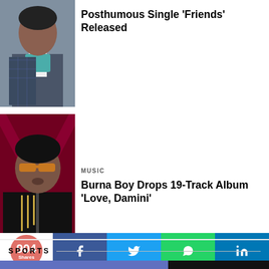[Figure (photo): Portrait photo of a man in a suit with a teal scarf]
Posthumous Single ‘Friends’ Released
[Figure (photo): Portrait photo of Burna Boy wearing sunglasses and chains against a red background]
MUSIC
Burna Boy Drops 19-Track Album ‘Love, Damini’
SPORTS
[Figure (photo): Sports photo with blue and dark background showing a person partially visible at bottom]
904 Shares
[Figure (infographic): Social share bar with Facebook, Twitter, WhatsApp, and LinkedIn icons]